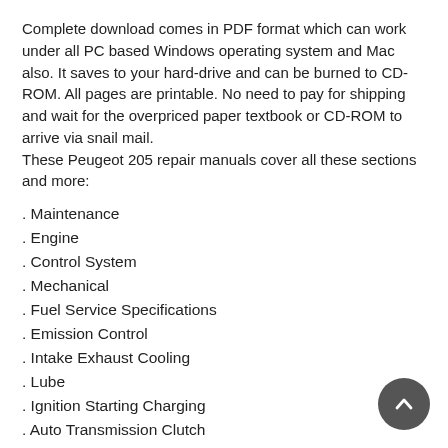Complete download comes in PDF format which can work under all PC based Windows operating system and Mac also. It saves to your hard-drive and can be burned to CD-ROM. All pages are printable. No need to pay for shipping and wait for the overpriced paper textbook or CD-ROM to arrive via snail mail. These Peugeot 205 repair manuals cover all these sections and more:
. Maintenance
. Engine
. Control System
. Mechanical
. Fuel Service Specifications
. Emission Control
. Intake Exhaust Cooling
. Lube
. Ignition Starting Charging
. Auto Transmission Clutch
. Manual Transmission